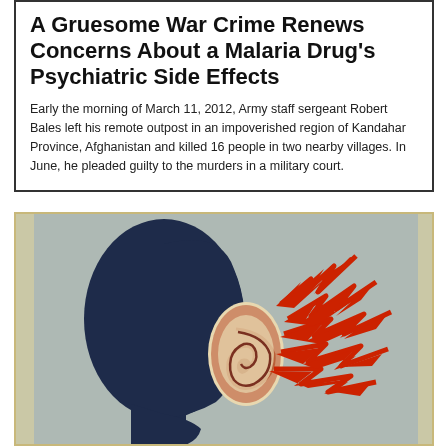A Gruesome War Crime Renews Concerns About a Malaria Drug's Psychiatric Side Effects
Early the morning of March 11, 2012, Army staff sergeant Robert Bales left his remote outpost in an impoverished region of Kandahar Province, Afghanistan and killed 16 people in two nearby villages. In June, he pleaded guilty to the murders in a military court.
[Figure (illustration): Stylized retro illustration of a human head silhouette in profile facing left, with a prominent ear in the center and multiple red lightning bolt shapes radiating outward from the ear area, suggesting auditory disturbance or psychiatric side effects. Background is muted blue-gray with a aged, textured appearance.]